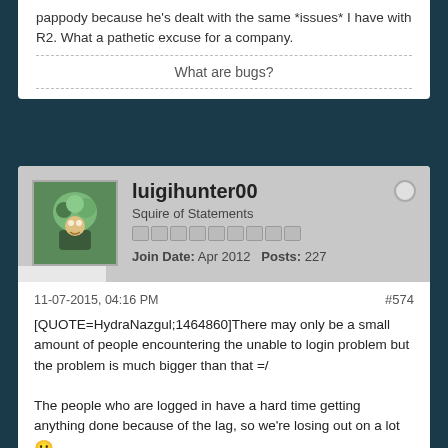pappody because he's dealt with the same *issues* I have with R2. What a pathetic excuse for a company.
What are bugs?
luigihunter00
Squire of Statements
Join Date: Apr 2012   Posts: 227
11-07-2015, 04:16 PM
#574
[QUOTE=HydraNazgul;1464860]There may only be a small amount of people encountering the unable to login problem but the problem is much bigger than that =/

The people who are logged in have a hard time getting anything done because of the lag, so we're losing out on a lot 😕

Please don't put pack expanders in compensation, unless there's a future update planned where we are getting more inventory space. Something that includes experience (not x2 tokens or x3 tokens) would be more helpful for a lot of